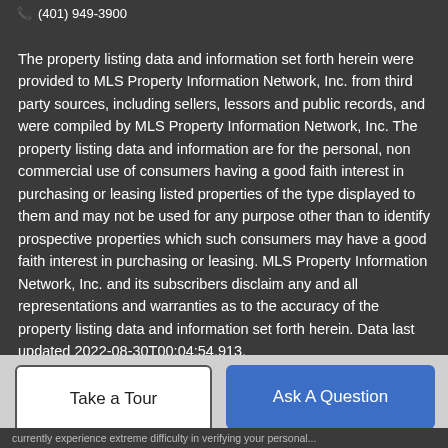(401) 949-3900
The property listing data and information set forth herein were provided to MLS Property Information Network, Inc. from third party sources, including sellers, lessors and public records, and were compiled by MLS Property Information Network, Inc. The property listing data and information are for the personal, non commercial use of consumers having a good faith interest in purchasing or leasing listed properties of the type displayed to them and may not be used for any purpose other than to identify prospective properties which such consumers may have a good faith interest in purchasing or leasing. MLS Property Information Network, Inc. and its subscribers disclaim any and all representations and warranties as to the accuracy of the property listing data and information set forth herein. Data last updated 2022-08-30T00:04:54.913.
Take a Tour
Ask A Question